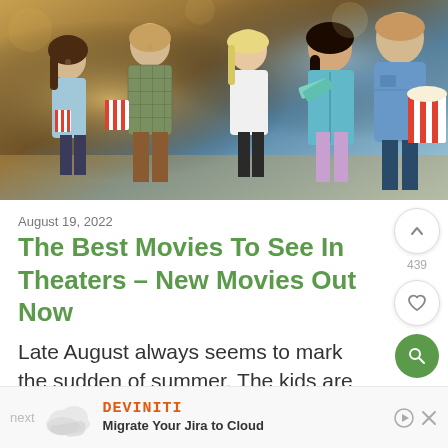[Figure (photo): Group of people at a cinema/movie theater lobby smiling, holding popcorn buckets and movie tickets. Four people visible: two women and two men dressed casually, warm bokeh background.]
August 19, 2022
The Best Movies To See In Theaters – New Movies Out Now
Late August always seems to mark the sudden of summer. The kids are back in school, the vacations are at an end, and the
[Figure (infographic): Advertisement bar: 'next' label with cloud graphic, Deviniti logo, 'Migrate Your Jira to Cloud' text, play and close controls]